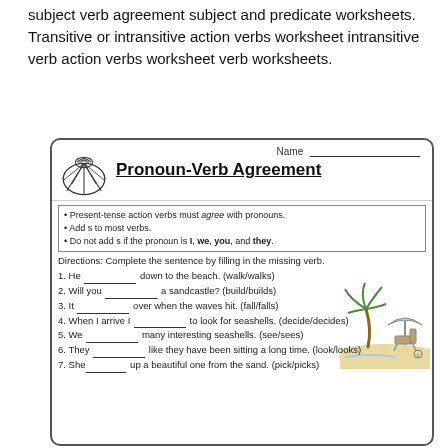subject verb agreement subject and predicate worksheets. Transitive or intransitive action verbs worksheet intransitive verb action verbs worksheet verb worksheets.
[Figure (illustration): A worksheet titled 'Pronoun-Verb Agreement' with a seashell logo, name line, rules box, directions, and 7 fill-in-the-blank questions about pronoun-verb agreement. A beach scene illustration (palm tree, umbrella, chair) is in the upper right of the worksheet.]
Pronoun-Verb Agreement
• Present-tense action verbs must agree with pronouns.
• Add s to most verbs.
• Do not add s if the pronoun is I, we, you, and they.
Directions: Complete the sentence by filling in the missing verb.
1. He __________ down to the beach. (walk/walks)
2. Will you __________ a sandcastle? (build/builds)
3. It __________ over when the waves hit. (fall/falls)
4. When I arrive I __________ to look for seashells. (decide/decides)
5. We __________ many interesting seashells. (see/sees)
6. They __________ like they have been sitting a long time. (look/looks)
7. She__________ up a beautiful one from the sand. (pick/picks)